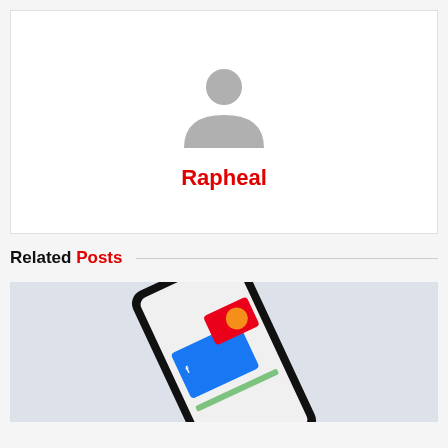[Figure (illustration): User profile card with gray default avatar icon and username 'Rapheal' in red bold text]
Related Posts
[Figure (photo): Photo of a smartphone lying on a light gray surface showing payment card apps including what appears to be Visa and Mastercard on screen]